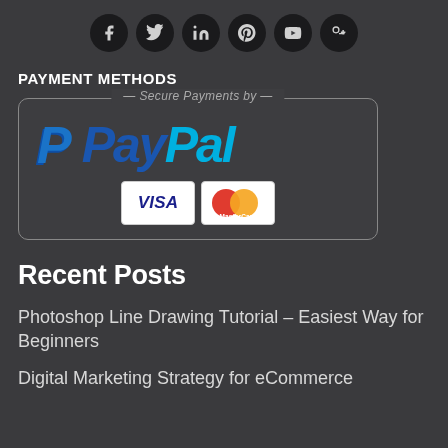[Figure (infographic): Row of six social media icons (Facebook, Twitter, LinkedIn, Pinterest, YouTube, Google+) as white symbols on dark circular backgrounds]
PAYMENT METHODS
[Figure (logo): PayPal Secure Payments logo box with VISA and Mastercard icons]
Recent Posts
Photoshop Line Drawing Tutorial – Easiest Way for Beginners
Digital Marketing Strategy for eCommerce